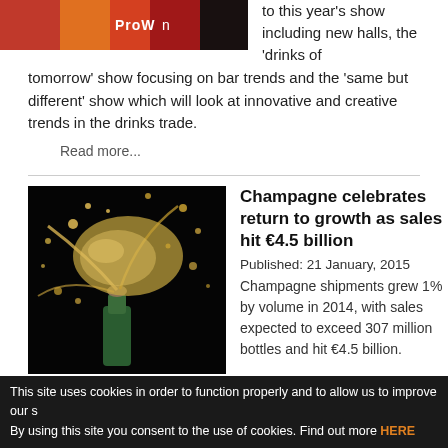[Figure (photo): Partial view of a trade show banner with 'ProWein' text and colorful flags/banners in red, orange, and green]
to this year's show including new halls, the 'drinks of tomorrow' show focusing on bar trends and the 'same but different' show which will look at innovative and creative trends in the drinks trade.
Read more...
[Figure (photo): Champagne bottle being uncorked with champagne spraying dramatically against a black background]
Champagne celebrates return to growth as sales hit €4.5 billion
Published:  21 January, 2015
Champagne shipments grew 1% by volume in 2014, with sales expected to exceed 307 million bottles and hit €4.5 billion.
Read more...
This site uses cookies in order to function properly and to allow us to improve our s By using this site you consent to the use of cookies. Find out more HERE